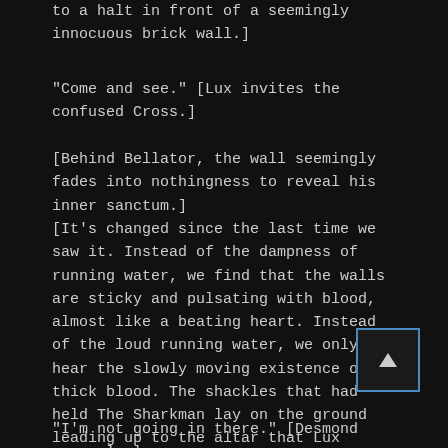to a halt in front of a seemingly innocuous brick wall.]
"Come and see." [Lux invites the confused Cross.]
[Behind Bellator, the wall seemingly fades into nothingness to reveal his inner sanctum.]
[It's changed since the last time we saw it. Instead of the dampness of running water, we find that the walls are sticky and pulsating with blood, almost like a beating heart. Instead of the loud running water, we only hear the slowly moving existence of thick blood. The shackles that had held The Sharkman lay on the ground leading up to the altar that Lux Bellator has constructed.]
"I'm not going in there." [Desmond says slowly,